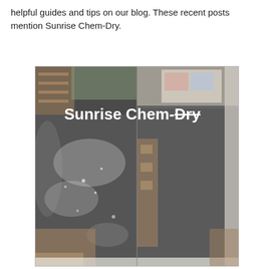helpful guides and tips on our blog. These recent posts mention Sunrise Chem-Dry.
[Figure (photo): Before and after carpet cleaning comparison photo with 'Sunrise Chem-Dry' text overlay. Left side shows dirty/stained dark grey carpet with debris and dust. Right side shows the same carpet area after cleaning, appearing clean and uniform. Wooden furniture/shelving visible in background of both sides.]